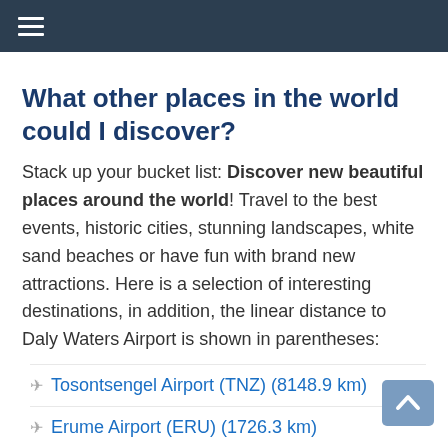≡ (hamburger menu)
What other places in the world could I discover?
Stack up your bucket list: Discover new beautiful places around the world! Travel to the best events, historic cities, stunning landscapes, white sand beaches or have fun with brand new attractions. Here is a selection of interesting destinations, in addition, the linear distance to Daly Waters Airport is shown in parentheses:
✈ Tosontsengel Airport (TNZ) (8148.9 km)
✈ Erume Airport (ERU) (1726.3 km)